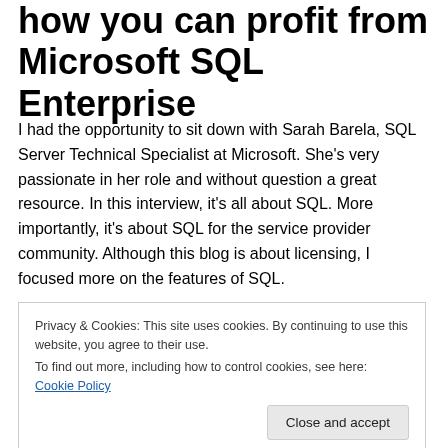how you can profit from Microsoft SQL Enterprise
I had the opportunity to sit down with Sarah Barela, SQL Server Technical Specialist at Microsoft. She's very passionate in her role and without question a great resource. In this interview, it's all about SQL. More importantly, it's about SQL for the service provider community. Although this blog is about licensing, I focused more on the features of SQL.
Special thanks to Sarah and the US Microsoft Hosting
Privacy & Cookies: This site uses cookies. By continuing to use this website, you agree to their use.
To find out more, including how to control cookies, see here: Cookie Policy